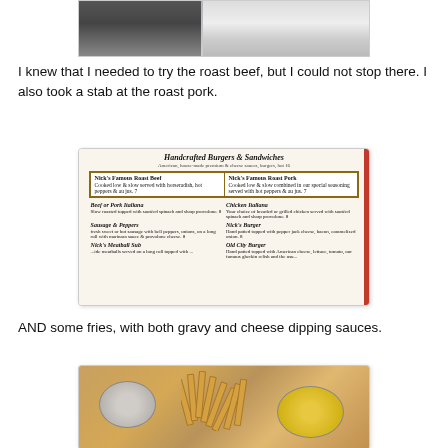[Figure (photo): Exterior photo of a restaurant storefront with a chalkboard sign and a person visible outside]
I knew that I needed to try the roast beef, but I could not stop there. I also took a stab at the roast pork.
[Figure (photo): A restaurant menu showing Handcrafted Burgers & Sandwiches including Nick's Famous Roast Beef, Nick's Famous Roast Pork, Beef or Pork Italiana, Chicken Italiana, Sausage & Peppers, Nick's Burger, Old City Burger, and Nick's Meatball Sub]
AND some fries, with both gravy and cheese dipping sauces.
[Figure (photo): A plate of french fries served with two dipping sauces — one gravy and one cheese sauce in small round cups]